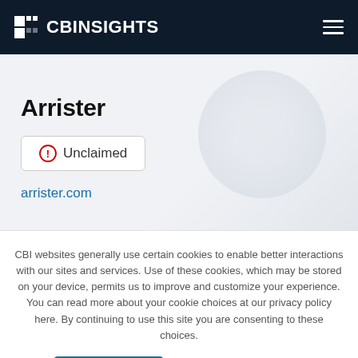CB INSIGHTS
Arrister
Unclaimed
arrister.com
CBI websites generally use certain cookies to enable better interactions with our sites and services. Use of these cookies, which may be stored on your device, permits us to improve and customize your experience. You can read more about your cookie choices at our privacy policy here. By continuing to use this site you are consenting to these choices.
I ACCEPT
I DO NOT ACCEPT